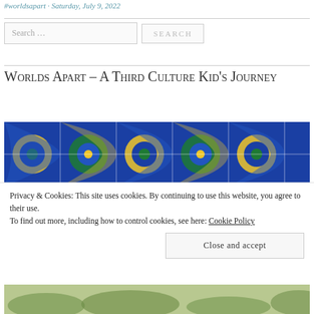worldsapart · Saturday, July 9, 2022
Search …
Worlds Apart – A Third Culture Kid's Journey
[Figure (photo): Colorful Islamic tilework pattern with blue, green, yellow, and white geometric and floral motifs]
Privacy & Cookies: This site uses cookies. By continuing to use this website, you agree to their use.
To find out more, including how to control cookies, see here: Cookie Policy
Close and accept